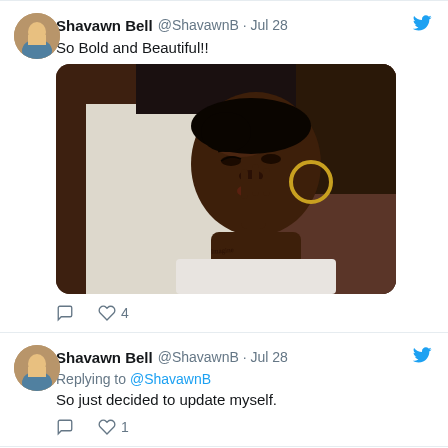Shavawn Bell @ShavawnB · Jul 28
So Bold and Beautiful!!
[Figure (photo): Portrait photo of a young Black woman with short hair, wearing hoop earrings and a white top, posing with hand near face, with tattoos visible on shoulder]
♡ 4
Shavawn Bell @ShavawnB · Jul 28
Replying to @ShavawnB
So just decided to update myself.
♡ 1
View on Twitter